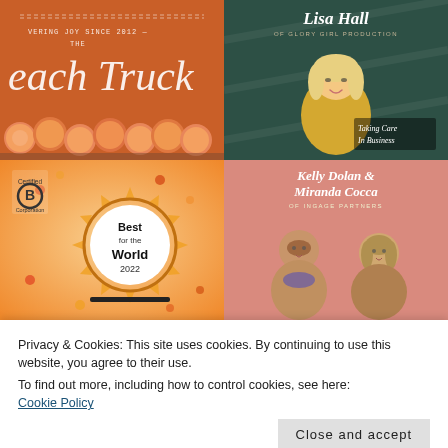[Figure (photo): Orange peach truck box with script text 'Peach Truck' and peaches below, text says 'VERING JOY SINCE 2012 — THE']
[Figure (photo): Lisa Hall of Glory Girl Production portrait on dark green background with 'Taking Care In Business' badge]
[Figure (photo): Certified B Corporation 'Best for the World 2022' badge with orange sunburst on warm gradient background]
[Figure (photo): Kelly Dolan & Miranda Cocca of Ingage Partners portrait on pink/salmon background]
Privacy & Cookies: This site uses cookies. By continuing to use this website, you agree to their use.
To find out more, including how to control cookies, see here:
Cookie Policy
Close and accept
Follow Us